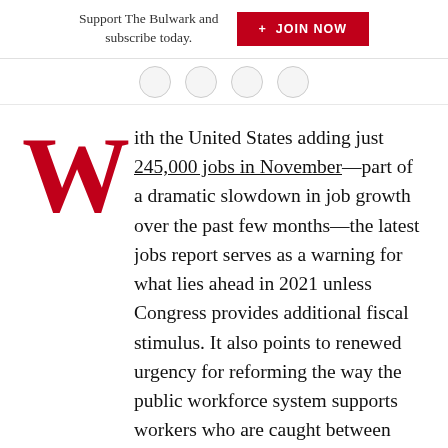Support The Bulwark and subscribe today.  + JOIN NOW
With the United States adding just 245,000 jobs in November—part of a dramatic slowdown in job growth over the past few months—the latest jobs report serves as a warning for what lies ahead in 2021 unless Congress provides additional fiscal stimulus. It also points to renewed urgency for reforming the way the public workforce system supports workers who are caught between COVID-19 and long-term but rapidly accelerating changes in the job market.